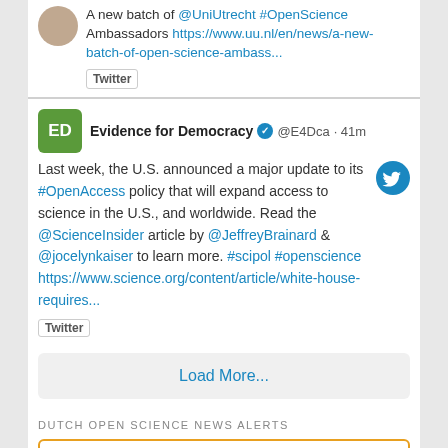A new batch of @UniUtrecht #OpenScience Ambassadors https://www.uu.nl/en/news/a-new-batch-of-open-science-ambass...
Twitter
Evidence for Democracy @E4Dca · 41m
Last week, the U.S. announced a major update to its #OpenAccess policy that will expand access to science in the U.S., and worldwide. Read the @ScienceInsider article by @JeffreyBrainard & @jocelynkaiser to learn more. #scipol #openscience https://www.science.org/content/article/white-house-requires...
Twitter
Load More...
DUTCH OPEN SCIENCE NEWS ALERTS
Waarom communicatiewetenschappers bezorgd zijn over open science - Advalvas-VU